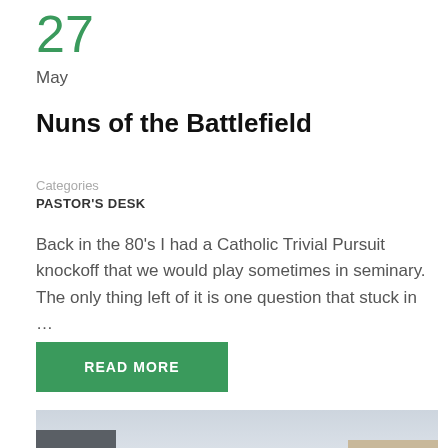27
May
Nuns of the Battlefield
Categories
PASTOR'S DESK
Back in the 80's I had a Catholic Trivial Pursuit knockoff that we would play sometimes in seminary. The only thing left of it is one question that stuck in …
READ MORE
[Figure (photo): Outdoor photo of a classical European building, likely a Roman temple or church with a domed roof, an obelisk, and surrounding buildings under a partly cloudy sky.]